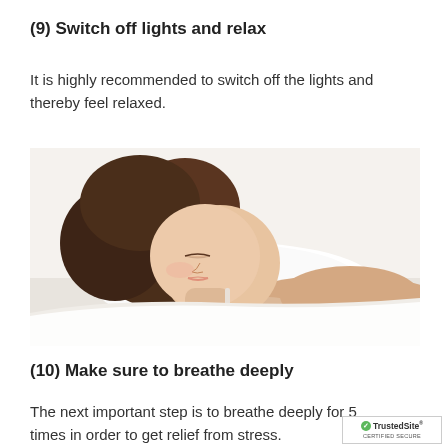(9) Switch off lights and relax
It is highly recommended to switch off the lights and thereby feel relaxed.
[Figure (photo): A woman with brown hair sleeping peacefully on a white pillow, wearing a white top, on a white background.]
(10) Make sure to breathe deeply
The next important step is to breathe deeply for 5 times in order to get relief from stress.
[Figure (logo): TrustedSite CERTIFIED SECURE badge with green checkmark]